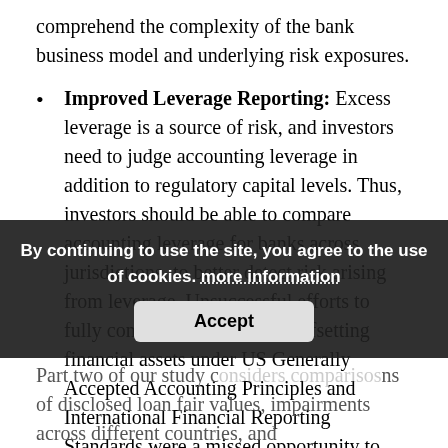comprehend the complexity of the bank business model and underlying risk exposures.
Improved Leverage Reporting: Excess leverage is a source of risk, and investors need to judge accounting leverage in addition to regulatory capital levels. Thus, investors should be able to compare accounting leverage for banks across jurisdictions, to better detect risk arising from leverage. Unsuccessful efforts to fully converge standards for offsetting financial assets under US Generally Accepted Accounting Principles and International Financial Reporting Standards were a missed opportunity to improve financial reporting for investors.
Part two of our study c[…]ns of disclosed loan fair values, impairments across different countries, and